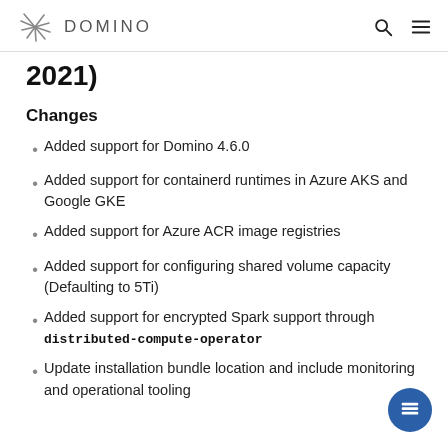DOMINO
2021)
Changes
Added support for Domino 4.6.0
Added support for containerd runtimes in Azure AKS and Google GKE
Added support for Azure ACR image registries
Added support for configuring shared volume capacity (Defaulting to 5Ti)
Added support for encrypted Spark support through distributed-compute-operator
Update installation bundle location and include monitoring and operational tooling